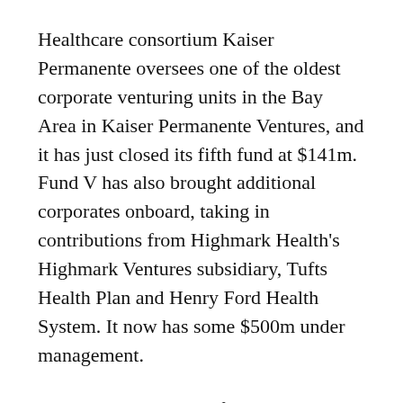Healthcare consortium Kaiser Permanente oversees one of the oldest corporate venturing units in the Bay Area in Kaiser Permanente Ventures, and it has just closed its fifth fund at $141m. Fund V has also brought additional corporates onboard, taking in contributions from Highmark Health's Highmark Ventures subsidiary, Tufts Health Plan and Henry Ford Health System. It now has some $500m under management.
Indian ride hailing platform Ola is preparing to enter London (though it is already present in other UK markets, such as here in Cardiff), but in the longer term has set early 2021 as the point when it will formally begin IPO